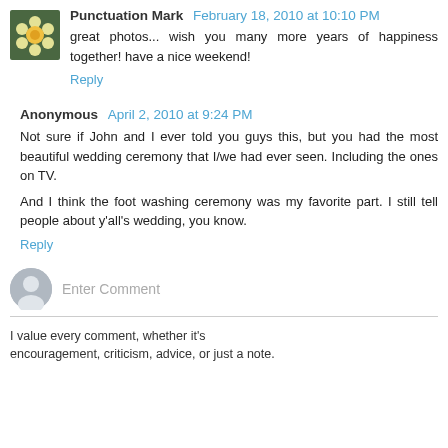Punctuation Mark  February 18, 2010 at 10:10 PM
great photos... wish you many more years of happiness together! have a nice weekend!
Reply
Anonymous  April 2, 2010 at 9:24 PM
Not sure if John and I ever told you guys this, but you had the most beautiful wedding ceremony that I/we had ever seen. Including the ones on TV.
And I think the foot washing ceremony was my favorite part. I still tell people about y'all's wedding, you know.
Reply
Enter Comment
I value every comment, whether it's
encouragement, criticism, advice, or just a note.